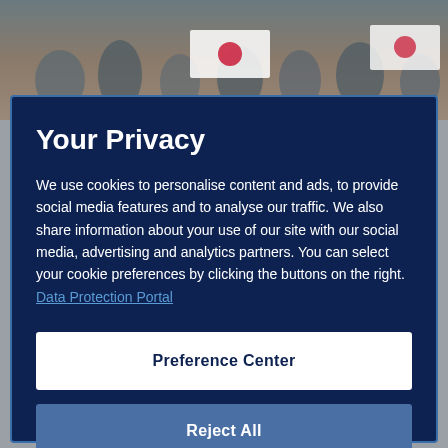[Figure (photo): Sports crowd photo showing fans with Korean flags in a stadium]
Your Privacy
We use cookies to personalise content and ads, to provide social media features and to analyse our traffic. We also share information about your use of our site with our social media, advertising and analytics partners. You can select your cookie preferences by clicking the buttons on the right.  Data Protection Portal
Preference Center
Reject All
I'm OK with that